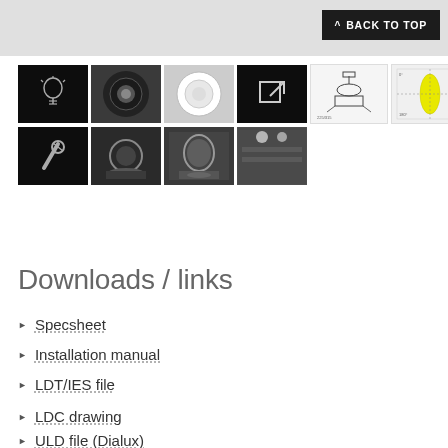[Figure (screenshot): Grey header bar with Back to Top button]
[Figure (photo): Grid of product images including light bulb icon, recessed downlight dark view, recessed downlight white view, external link icon, technical schematic drawing, LDC polar diagram, wrench/tools icon, and three bathroom installation photos]
Downloads / links
Specsheet
Installation manual
LDT/IES file
LDC drawing
ULD file (Dialux)